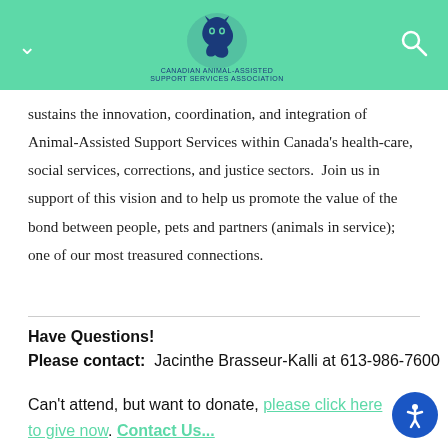Navigation bar with logo, chevron menu, and search icon
sustains the innovation, coordination, and integration of Animal-Assisted Support Services within Canada's health-care, social services, corrections, and justice sectors.  Join us in support of this vision and to help us promote the value of the bond between people, pets and partners (animals in service); one of our most treasured connections.
Have Questions!
Please contact:  Jacinthe Brasseur-Kalli at 613-986-7600
Can't attend, but want to donate, please click here to give now. Contact Us...